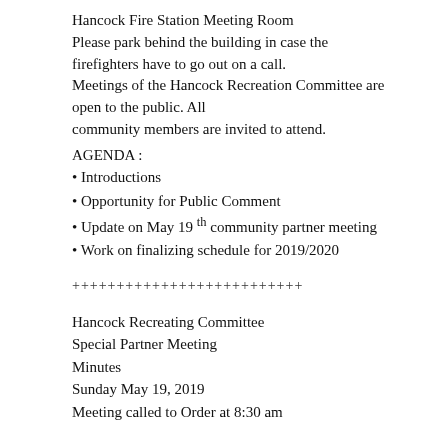Hancock Fire Station Meeting Room
Please park behind the building in case the firefighters have to go out on a call.
Meetings of the Hancock Recreation Committee are open to the public. All community members are invited to attend.
AGENDA :
• Introductions
• Opportunity for Public Comment
• Update on May 19 th community partner meeting
• Work on finalizing schedule for 2019/2020
++++++++++++++++++++++++++
Hancock Recreating Committee
Special Partner Meeting
Minutes
Sunday May 19, 2019
Meeting called to Order at 8:30 am